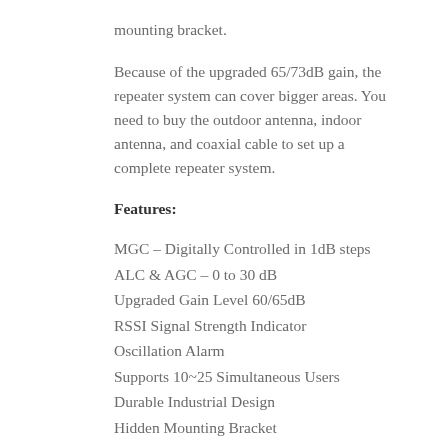mounting bracket.
Because of the upgraded 65/73dB gain, the repeater system can cover bigger areas. You need to buy the outdoor antenna, indoor antenna, and coaxial cable to set up a complete repeater system.
Features:
MGC – Digitally Controlled in 1dB steps
ALC & AGC – 0 to 30 dB
Upgraded Gain Level 60/65dB
RSSI Signal Strength Indicator
Oscillation Alarm
Supports 10~25 Simultaneous Users
Durable Industrial Design
Hidden Mounting Bracket
CE 0700 Approved Legal to Use
2 Year Guarantee